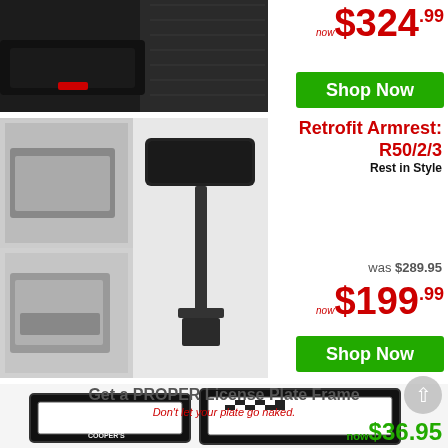[Figure (photo): Black car interior showing armrest area with red button]
now $324.99
Shop Now
[Figure (photo): Retrofit Armrest R50/2/3 product images showing installation and standalone product]
Retrofit Armrest: R50/2/3
Rest in Style
was $289.95
now $199.99
Shop Now
[Figure (photo): License plate frames including Cooper S and checkered MINI frames]
Get a PROPER License Plate Frame
Don't let your plate go naked.
now $36.95